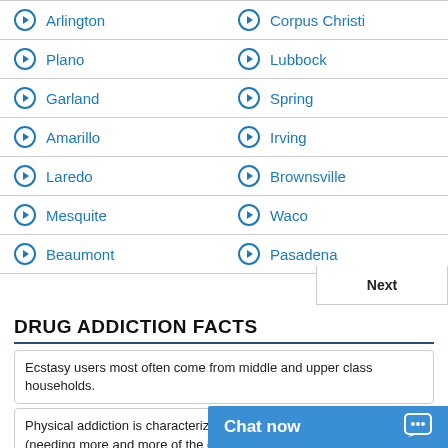Arlington
Corpus Christi
Plano
Lubbock
Garland
Spring
Amarillo
Irving
Laredo
Brownsville
Mesquite
Waco
Beaumont
Pasadena
DRUG ADDICTION FACTS
Ecstasy users most often come from middle and upper class households.
Physical addiction is characterized by the presence of tolerance (needing more and more of the drug to achieve the same effect).
The medical examiner’s office in Long Island, NY has been investigating several deaths initially assumed to be heroin overdoses but later found to have involved fentanyl.